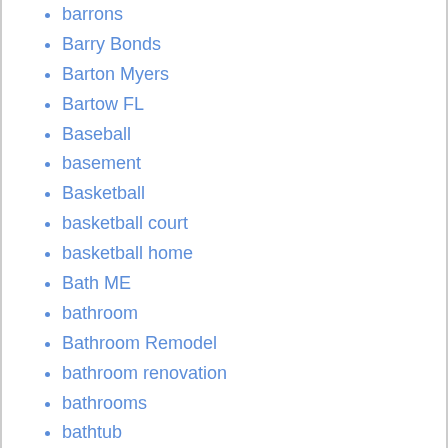barrons
Barry Bonds
Barton Myers
Bartow FL
Baseball
basement
Basketball
basketball court
basketball home
Bath ME
bathroom
Bathroom Remodel
bathroom renovation
bathrooms
bathtub
baton rouge
Baton Rouge LA
BATS:CBOE
Battle Creek MI